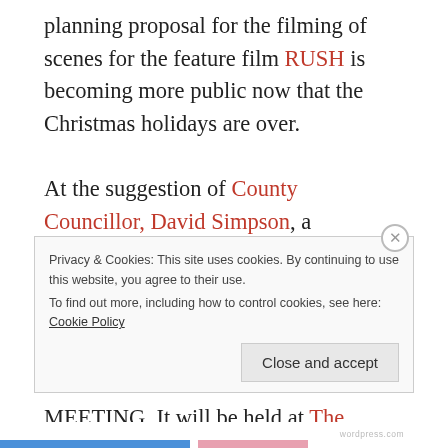planning proposal for the filming of scenes for the feature film RUSH is becoming more public now that the Christmas holidays are over.

At the suggestion of County Councillor, David Simpson, a 'stakeholder' meeting with the film's Location Manager (who commented on my previous post), planned for tomorrow morning, Friday 6th January 2012 has now been made a PUBLIC MEETING. It will be held at The Tythings
Privacy & Cookies: This site uses cookies. By continuing to use this website, you agree to their use.
To find out more, including how to control cookies, see here: Cookie Policy
Close and accept